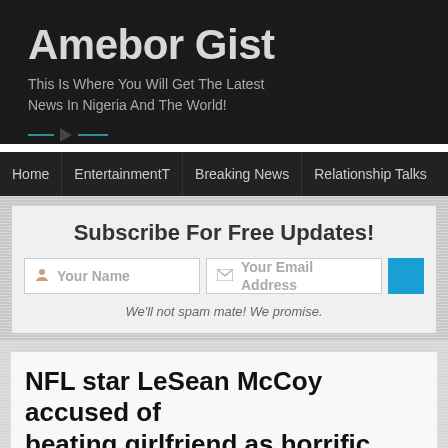Amebor Gist
This Is Where You Will Get The Latest News In Nigeria And The World!
Home | EntertainmentT | Breaking News | Relationship Talks
Subscribe For Free Updates!
Your Name
Your Email Address
We'll not spam mate! We promise.
NFL star LeSean McCoy accused of beating girlfriend as horrific photo